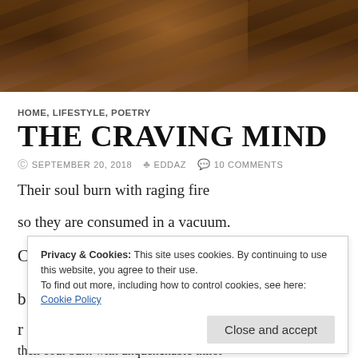[Figure (photo): Partial photo of a person, cropped at top of page, showing dark clothing with textured pattern and skin tones]
HOME, LIFESTYLE, POETRY
THE CRAVING MIND
SEPTEMBER 20, 2018   EDDAZ   10 COMMENTS
Their soul burn with raging fire
so they are consumed in a vacuum.
Privacy & Cookies: This site uses cookies. By continuing to use this website, you agree to their use.
To find out more, including how to control cookies, see here:
Cookie Policy
Close and accept